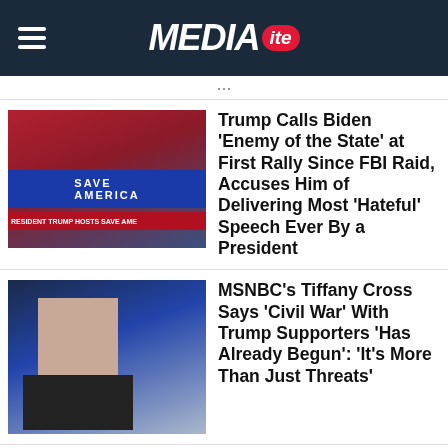MEDIAITE
Trump Calls Biden ‘Enemy of the State’ at First Rally Since FBI Raid, Accuses Him of Delivering Most ‘Hateful’ Speech Ever By a President
[Figure (photo): Trump at Save America rally]
MSNBC’s Tiffany Cross Says ‘Civil War’ With Trump Supporters ‘Has Already Begun’: ‘It’s More Than Just Threats’
[Figure (photo): MSNBC anchor Tiffany Cross]
WATCH: Trump Rally Anchor Comically Shoves Past MTG After Spotting Mastriano in Crowd
[Figure (photo): Trump rally crowd scene]
‘Made Me Cry Like a Child!’ Republican Consultant Raves Biden’s ‘MAGA’ Speech
[Figure (photo): Biden speaking]